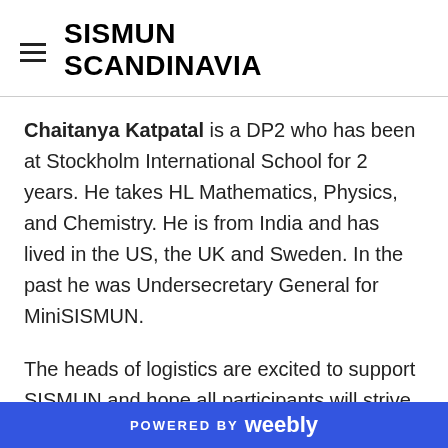SISMUN SCANDINAVIA
Chaitanya Katpatal is a DP2 who has been at Stockholm International School for 2 years. He takes HL Mathematics, Physics, and Chemistry. He is from India and has lived in the US, the UK and Sweden. In the past he was Undersecretary General for MiniSISMUN.
The heads of logistics are excited to support SISMUN and hope all participants will strive to create memorable experience.
POWERED BY weebly